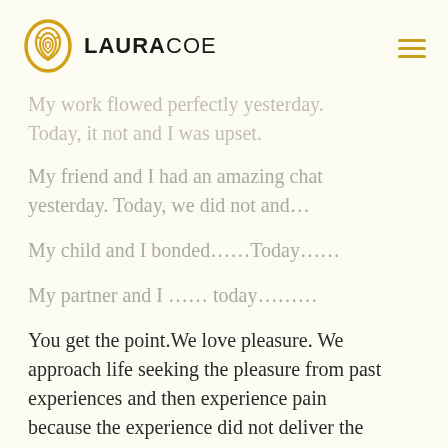LAURA COE
My work flowed perfectly yesterday. Today, it not and I was upset.
My friend and I had an amazing chat yesterday. Today, we did not and…
My child and I bonded……Today……
My partner and I …… today………
You get the point.We love pleasure. We approach life seeking the pleasure from past experiences and then experience pain because the experience did not deliver the anticipated pleasure.We chase. We seek. We